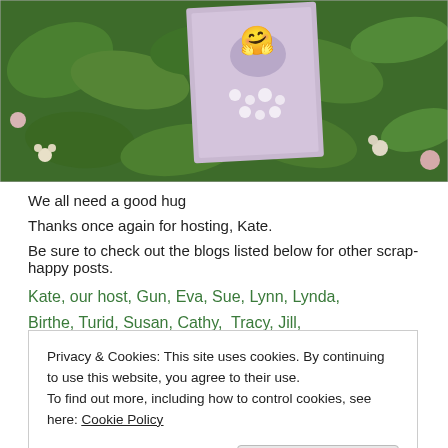[Figure (photo): Photo of a card/artwork with a hand/hug design placed among green leafy plants with small white and pink flowers]
We all need a good hug
Thanks once again for hosting, Kate.
Be sure to check out the blogs listed below for other scrap-happy posts.
Kate, our host, Gun, Eva, Sue, Lynn, Lynda, Birthe, Turid, Susan, Cathy,  Tracy, Jill,
Privacy & Cookies: This site uses cookies. By continuing to use this website, you agree to their use.
To find out more, including how to control cookies, see here: Cookie Policy
Close and accept